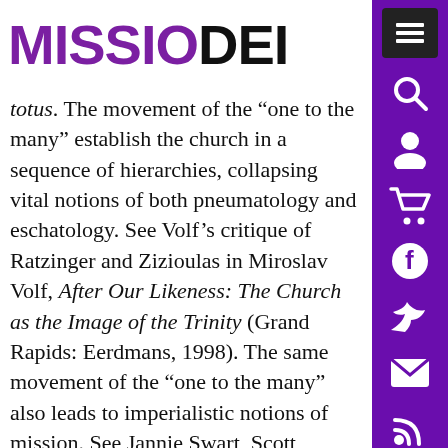MISSIO DEI
totus. The movement of the “one to the many” establish the church in a sequence of hierarchies, collapsing vital notions of both pneumatology and eschatology. See Volf’s critique of Ratzinger and Zizioulas in Miroslav Volf, After Our Likeness: The Church as the Image of the Trinity (Grand Rapids: Eerdmans, 1998). The same movement of the “one to the many” also leads to imperialistic notions of mission. See Jannie Swart, Scott Hagley, John Ogren, and Mark Love, “Toward a Missional Theology of Participation: Ecumenical Reflections on Contributions to Trinity, Mission, and Church,” Missiology: An International Review